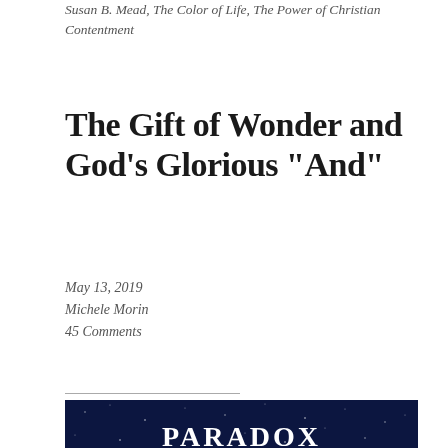Susan B. Mead, The Color of Life, The Power of Christian Contentment
The Gift of Wonder and God’s Glorious “And”
May 13, 2019
Michele Morin
45 Comments
[Figure (illustration): Dark blue starry night sky background with bold white serif text reading PARADOX HAS PROMISE and smaller subtitle text below]